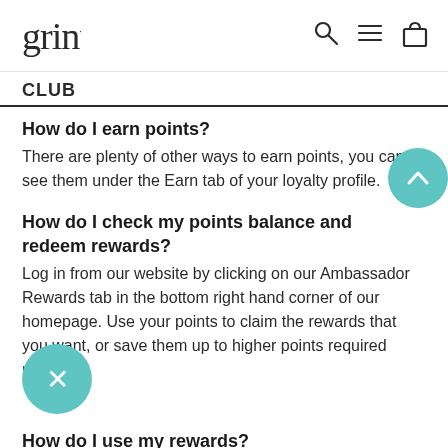grin
CLUB
How do I earn points?
There are plenty of other ways to earn points, you can see them under the Earn tab of your loyalty profile.
How do I check my points balance and redeem rewards?
Log in from our website by clicking on our Ambassador Rewards tab in the bottom right hand corner of our homepage. Use your points to claim the rewards that you want, or save them up to higher points required rewards.
How do I use my rewards?
Just copy and paste your unique coupon code into the discount bar at the checkout and